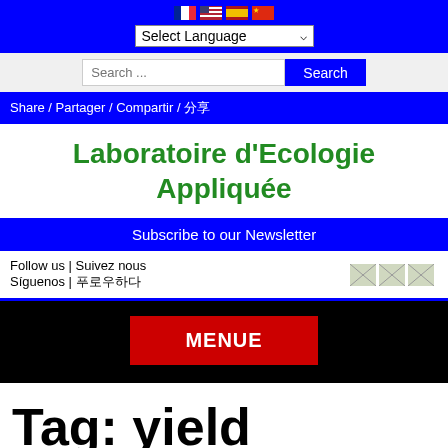[Figure (screenshot): Website header with flag icons (French, US, Spanish, Chinese) and a language selector dropdown reading 'Select Language']
[Figure (screenshot): Search bar with placeholder 'Search ...' and a blue 'Search' button]
Share / Partager / Compartir / 分享
Laboratoire d'Ecologie Appliquée
Subscribe to our Newsletter
Follow us | Suivez nous Síguenos | 팔로우하다
[Figure (screenshot): Three social media icon placeholder images]
MENUE
Tag: yield